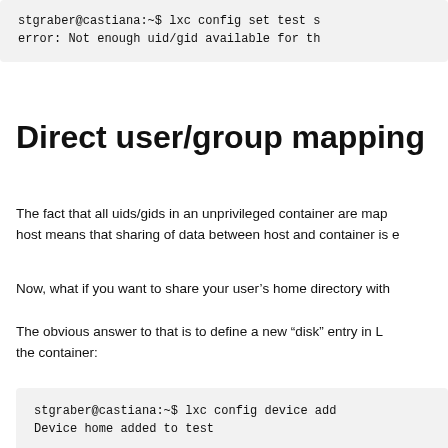stgraber@castiana:~$ lxc config set test s
error: Not enough uid/gid available for th
Direct user/group mapping
The fact that all uids/gids in an unprivileged container are map host means that sharing of data between host and container is e
Now, what if you want to share your user's home directory with
The obvious answer to that is to define a new “disk” entry in L the container:
stgraber@castiana:~$ lxc config device add
Device home added to test